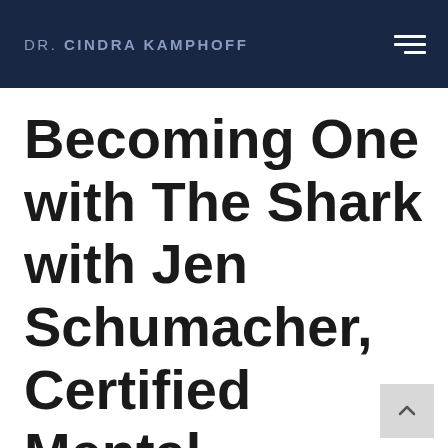DR. CINDRA KAMPHOFF
Becoming One with The Shark with Jen Schumacher, Certified Mental Performance Consultant & Performance